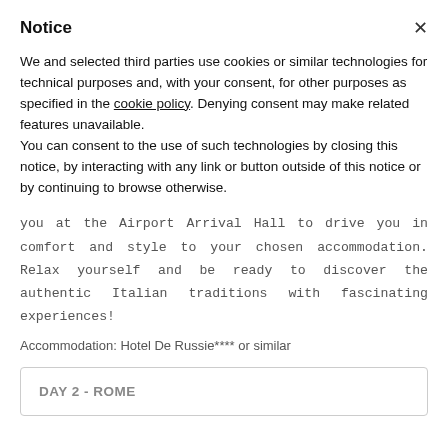Notice
We and selected third parties use cookies or similar technologies for technical purposes and, with your consent, for other purposes as specified in the cookie policy. Denying consent may make related features unavailable.
You can consent to the use of such technologies by closing this notice, by interacting with any link or button outside of this notice or by continuing to browse otherwise.
you at the Airport Arrival Hall to drive you in comfort and style to your chosen accommodation. Relax yourself and be ready to discover the authentic Italian traditions with fascinating experiences!
Accommodation: Hotel De Russie**** or similar
DAY 2 - ROME